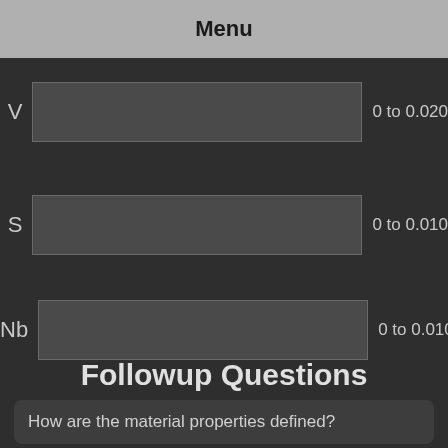Menu
V   0 to 0.020
S   0 to 0.010
Nb   0 to 0.010
All values are % weight. Ranges represent what is permitted under applicable standards.
Followup Questions
How are the material properties defined?